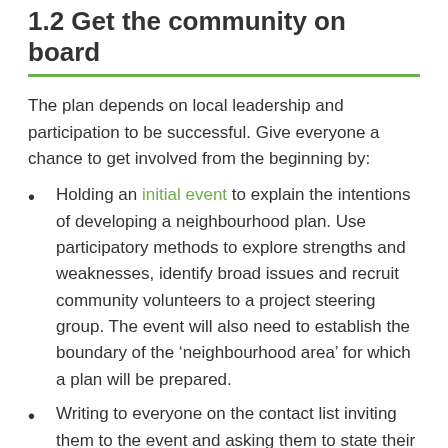1.2 Get the community on board
The plan depends on local leadership and participation to be successful.  Give everyone a chance to get involved from the beginning by:
Holding an initial event to explain the intentions of developing a neighbourhood plan. Use participatory methods to explore strengths and weaknesses, identify broad issues and recruit community volunteers to a project steering group.  The event will also need to establish the boundary of the ‘neighbourhood area’ for which a plan will be prepared.
Writing to everyone on the contact list inviting them to the event and asking them to state their level of interest in taking part in development of